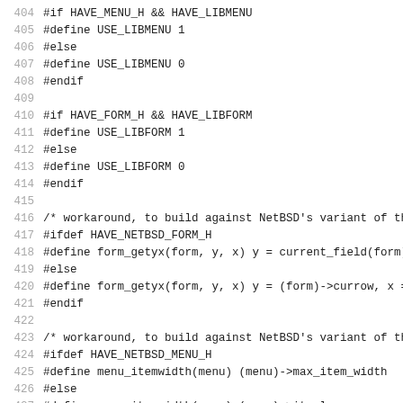404 #if HAVE_MENU_H && HAVE_LIBMENU
405 #define USE_LIBMENU 1
406 #else
407 #define USE_LIBMENU 0
408 #endif
409 
410 #if HAVE_FORM_H && HAVE_LIBFORM
411 #define USE_LIBFORM 1
412 #else
413 #define USE_LIBFORM 0
414 #endif
415 
416 /* workaround, to build against NetBSD's variant of the
417 #ifdef HAVE_NETBSD_FORM_H
418 #define form_getyx(form, y, x) y = current_field(form)-
419 #else
420 #define form_getyx(form, y, x) y = (form)->currow, x =
421 #endif
422 
423 /* workaround, to build against NetBSD's variant of the
424 #ifdef HAVE_NETBSD_MENU_H
425 #define menu_itemwidth(menu) (menu)->max_item_width
426 #else
427 #define menu_itemwidth(menu) (menu)->itemlen
428 #endif
429 
430 #ifndef HAVE_TYPE_ATTR_T
431 #if !USE_WIDEC_SUPPORT && !defined(attr_t)
432 #define attr_t chtype
433 #endif
434 #endif
435